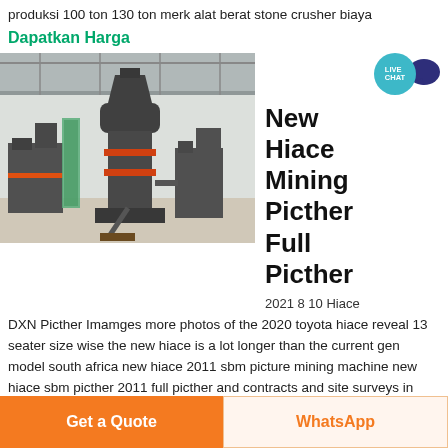produksi 100 ton 130 ton merk alat berat stone crusher biaya
Dapatkan Harga
[Figure (photo): Industrial mining machine (grinding mill / stone crusher) in a factory warehouse setting, large grey vertical cylindrical machines with orange accents on concrete floor]
New Hiace Mining Picther Full Picther
2021 8 10 Hiace
DXN Picther Imamges more photos of the 2020 toyota hiace reveal 13 seater size wise the new hiace is a lot longer than the current gen model south africa new hiace 2011 sbm picture mining machine new hiace sbm picther 2011 full picther and contracts and site surveys in
Get a Quote
WhatsApp